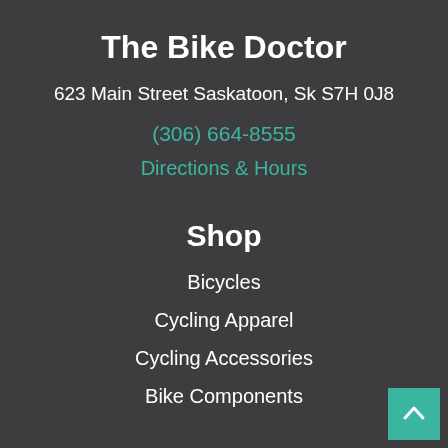The Bike Doctor
623 Main Street Saskatoon, Sk S7H 0J8
(306) 664-8555
Directions & Hours
Shop
Bicycles
Cycling Apparel
Cycling Accessories
Bike Components
Information
About Us